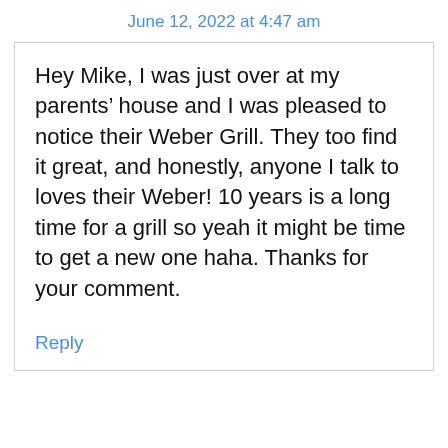June 12, 2022 at 4:47 am
Hey Mike, I was just over at my parents’ house and I was pleased to notice their Weber Grill. They too find it great, and honestly, anyone I talk to loves their Weber! 10 years is a long time for a grill so yeah it might be time to get a new one haha. Thanks for your comment.
Reply